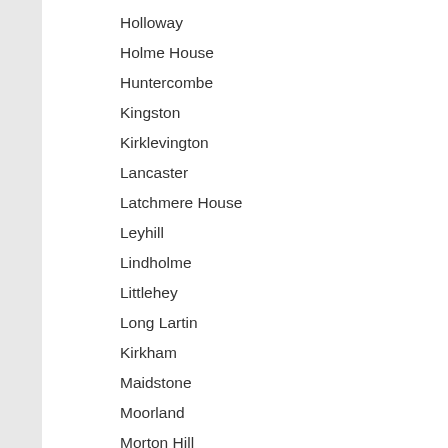Holloway
Holme House
Huntercombe
Kingston
Kirklevington
Lancaster
Latchmere House
Leyhill
Lindholme
Littlehey
Long Lartin
Kirkham
Maidstone
Moorland
Morton Hill
Nottingham
Onley